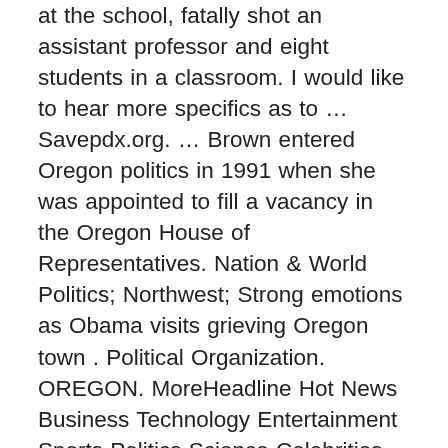at the school, fatally shot an assistant professor and eight students in a classroom. I would like to hear more specifics as to … Savepdx.org. … Brown entered Oregon politics in 1991 when she was appointed to fill a vacancy in the Oregon House of Representatives. Nation & World Politics; Northwest; Strong emotions as Obama visits grieving Oregon town . Political Organization. OREGON. MoreHeadline Hot News Business Technology Entertainment Sports Politics Science Celebrities Economy Education Environment Fifty. Josh Marshall, editor and publisher of popular progressive news site Talking Points Memo, took to Twitter to insult Roseburg, Oregon protestors who support